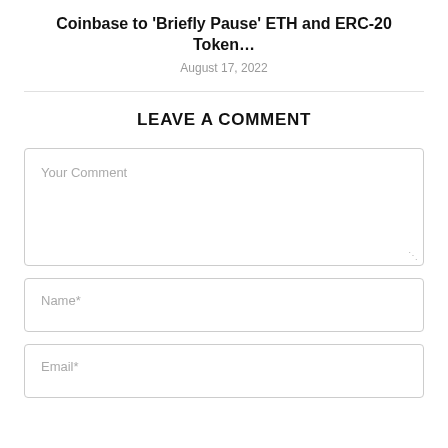Coinbase to 'Briefly Pause' ETH and ERC-20 Token…
August 17, 2022
LEAVE A COMMENT
Your Comment
Name*
Email*